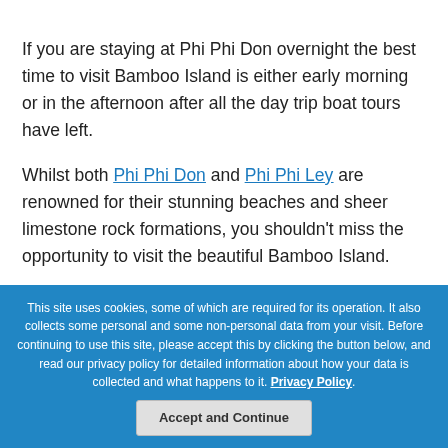If you are staying at Phi Phi Don overnight the best time to visit Bamboo Island is either early morning or in the afternoon after all the day trip boat tours have left.
Whilst both Phi Phi Don and Phi Phi Ley are renowned for their stunning beaches and sheer limestone rock formations, you shouldn't miss the opportunity to visit the beautiful Bamboo Island.
This site uses cookies, some of which are required for its operation. It also collects some personal and some non-personal data from your visit. Before continuing to use this site, please accept this by clicking the button below, and read our privacy policy for detailed information about how your data is collected and what happens to it. Privacy Policy.